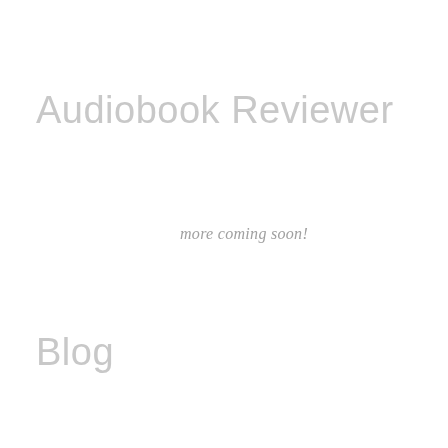Audiobook Reviewer
more coming soon!
Blog